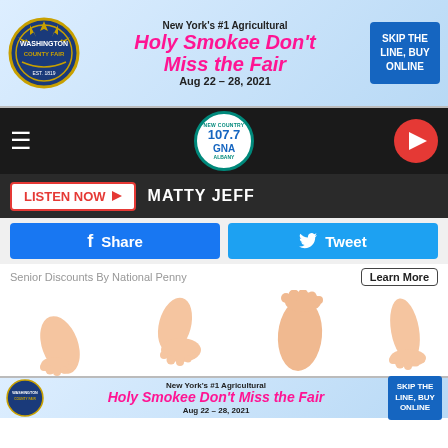[Figure (screenshot): Washington County Fair advertisement banner: 'New York's #1 Agricultural Holy Smokee Don't Miss the Fair Aug 22-28, 2021' with 'SKIP THE LINE, BUY ONLINE' button]
[Figure (screenshot): 107.7 GNA New Country radio station navigation bar with hamburger menu, circular logo, and red play button]
LISTEN NOW ▶  MATTY JEFF
f Share     Tweet
Senior Discounts By National Penny
Learn More
[Figure (illustration): Multiple cartoon illustrations of bare human feet and ankles in various positions/angles on white background]
[Figure (screenshot): Washington County Fair advertisement banner: 'New York's #1 Agricultural Holy Smokee Don't Miss the Fair Aug 22-28, 2021' with 'SKIP THE LINE, BUY ONLINE' button]